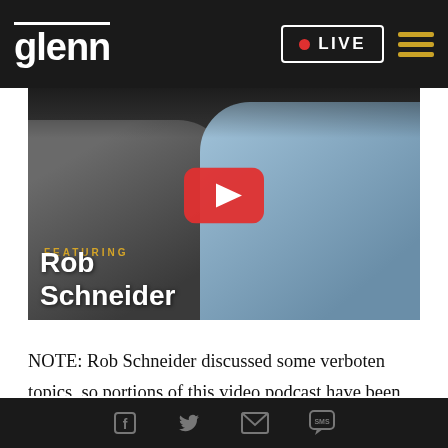glenn | LIVE
[Figure (screenshot): Video thumbnail showing Rob Schneider and another person laughing, with YouTube play button overlay. Text reads 'FEATURING Rob Schneider']
NOTE: Rob Schneider discussed some verboten topics, so portions of this video podcast have been edited to comply with YouTube's "community guidelines." For the full, uncensored version of this episode where free speech is still allowed, watch it
Social share icons: Facebook, Twitter, Email, SMS